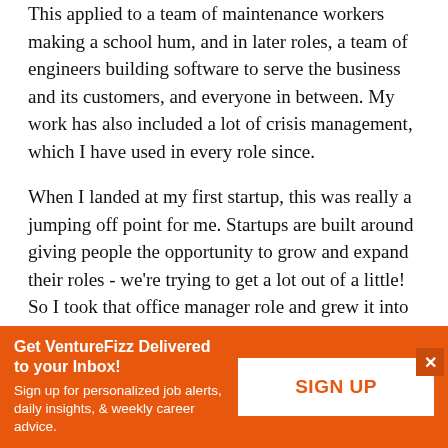This applied to a team of maintenance workers making a school hum, and in later roles, a team of engineers building software to serve the business and its customers, and everyone in between. My work has also included a lot of crisis management, which I have used in every role since.
When I landed at my first startup, this was really a jumping off point for me. Startups are built around giving people the opportunity to grow and expand their roles - we're trying to get a lot out of a little! So I took that office manager role and grew it into benefits management, talent management, customer program management and product management. I worked with an amazing group of people who recognized my natural strengths and weren't afraid to throw a new challenge at me, and who were
Get VentureFizz Delivered to your Inbox! Sign up for personalized job alerts, daily insights, & weekly career advice. SIGN UP